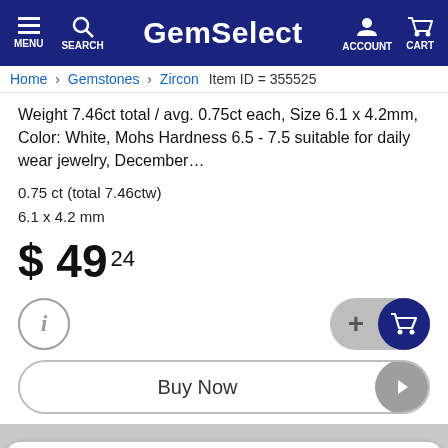GemSelect — MENU SEARCH ACCOUNT CART
Home > Gemstones > Zircon   Item ID = 355525
Weight 7.46ct total / avg. 0.75ct each, Size 6.1 x 4.2mm, Color: White, Mohs Hardness 6.5 - 7.5 suitable for daily wear jewelry, December…
0.75 ct (total 7.46ctw)
6.1 x 4.2 mm
$ 49 24
[Figure (screenshot): Info button (i), Add to cart button (+cart icon), Buy Now button with arrow]
Like  Share  Save  Tweet